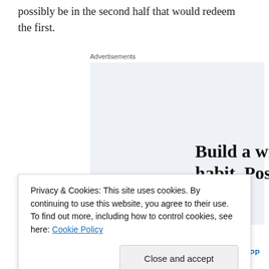possibly be in the second half that would redeem the first.
Advertisements
[Figure (infographic): WordPress app advertisement with light blue background showing text 'Build a writing habit. Post on the go.' and a 'GET THE APP' call to action with WordPress logo]
Privacy & Cookies: This site uses cookies. By continuing to use this website, you agree to their use.
To find out more, including how to control cookies, see here: Cookie Policy
evaluate other worldviews. So he suggests that instead of